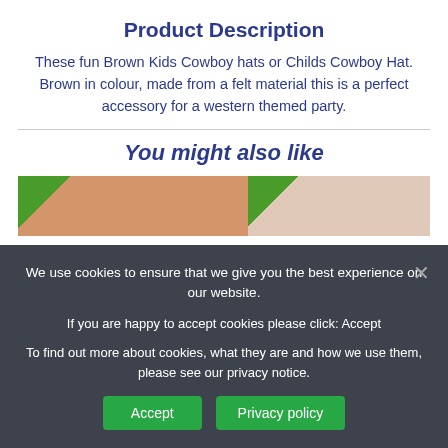Product Description
These fun Brown Kids Cowboy hats or Childs Cowboy Hat. Brown in colour, made from a felt material this is a perfect accessory for a western themed party.
You might also like
[Figure (photo): Two partial product images visible below 'You might also like', both with green corner accents. Left image shows a brownish/peach product, right shows a lighter product.]
We use cookies to ensure that we give you the best experience on our website.

If you are happy to accept cookies please click: Accept

To find out more about cookies, what they are and how we use them, please see our privacy notice.
Accept
Privacy policy